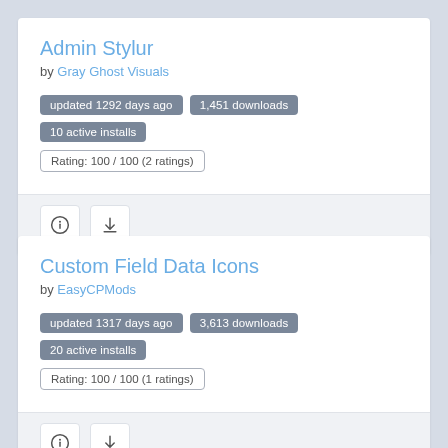Admin Stylur
by Gray Ghost Visuals
updated 1292 days ago   1,451 downloads   10 active installs   Rating: 100 / 100 (2 ratings)
[Figure (infographic): Info icon and download icon buttons in a grey bar]
Custom Field Data Icons
by EasyCPMods
updated 1317 days ago   3,613 downloads   20 active installs   Rating: 100 / 100 (1 ratings)
[Figure (infographic): Info icon and download icon buttons in a grey bar]